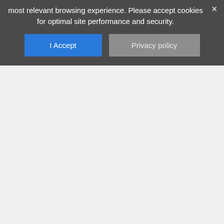most relevant browsing experience. Please accept cookies for optimal site performance and security.
I Accept
Privacy policy